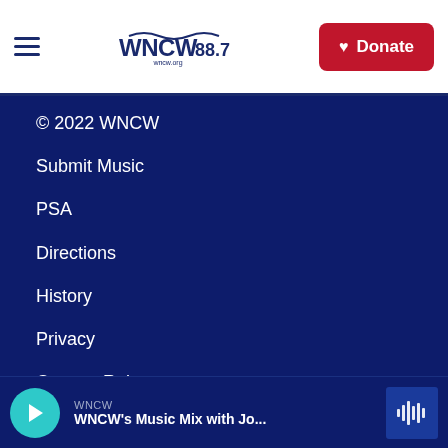WNCW 88.7 — Donate button header
© 2022 WNCW
Submit Music
PSA
Directions
History
Privacy
Contest Rules
Mission
WNCW — WNCW's Music Mix with Jo...